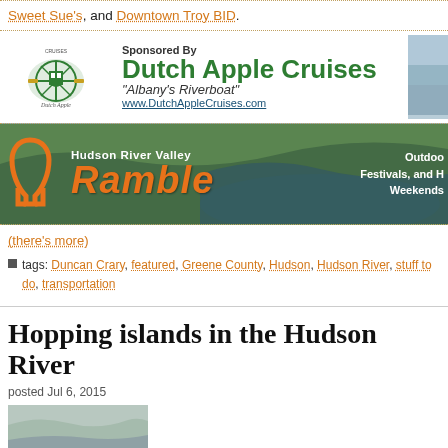Sweet Sue's, and Downtown Troy BID.
[Figure (illustration): Dutch Apple Cruises sponsorship banner with logo and 'Albany's Riverboat' tagline]
[Figure (photo): Hudson River Valley Ramble banner with landscape photo of Hudson River valley]
(there's more)
tags: Duncan Crary, featured, Greene County, Hudson, Hudson River, stuff to do, transportation
Hopping islands in the Hudson River
posted Jul 6, 2015
[Figure (photo): Partial photo of Hudson River area at bottom of page]